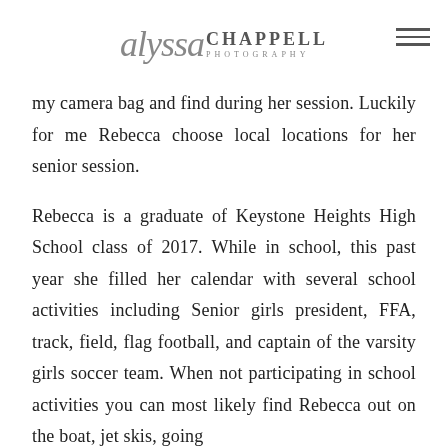alyssa CHAPPELL PHOTOGRAPHY
my camera bag and find during her session. Luckily for me Rebecca choose local locations for her senior session.
Rebecca is a graduate of Keystone Heights High School class of 2017. While in school, this past year she filled her calendar with several school activities including Senior girls president, FFA, track, field, flag football, and captain of the varsity girls soccer team. When not participating in school activities you can most likely find Rebecca out on the boat, jet skis, going